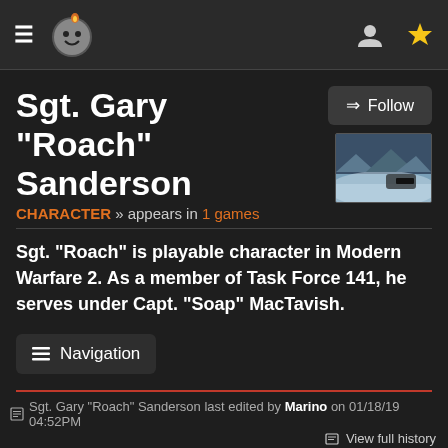Navigation header with menu icon, site logo, user icon, and star/favorites icon
Sgt. Gary "Roach" Sanderson
CHARACTER » appears in 1 games
[Figure (screenshot): Small thumbnail screenshot showing a snowy winter scene from Modern Warfare 2]
Sgt. "Roach" is playable character in Modern Warfare 2. As a member of Task Force 141, he serves under Capt. "Soap" MacTavish.
Navigation
Sgt. Gary "Roach" Sanderson last edited by Marino on 01/18/19 04:52PM  View full history
Who is Sgt. Roach S...